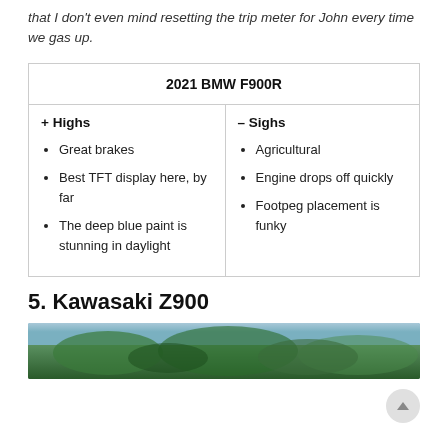that I don't even mind resetting the trip meter for John every time we gas up.
| 2021 BMW F900R |
| --- |
| + Highs | – Sighs |
| • Great brakes
• Best TFT display here, by far
• The deep blue paint is stunning in daylight | • Agricultural
• Engine drops off quickly
• Footpeg placement is funky |
5. Kawasaki Z900
[Figure (photo): Partial photo of a Kawasaki Z900 motorcycle outdoors with blurred foliage in background]